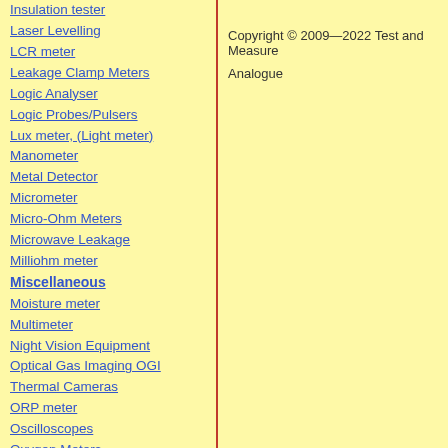Insulation tester
Laser Levelling
LCR meter
Leakage Clamp Meters
Logic Analyser
Logic Probes/Pulsers
Lux meter, (Light meter)
Manometer
Metal Detector
Micrometer
Micro-Ohm Meters
Microwave Leakage
Milliohm meter
Miscellaneous
Moisture meter
Multimeter
Night Vision Equipment
Optical Gas Imaging OGI Thermal Cameras
ORP meter
Oscilloscopes
Oxygen Meters
Pattern generators
Panel meter
PC-Based Instruments
Pen type tester
Copyright  © 2009—2022 Test and Measure
Analogue